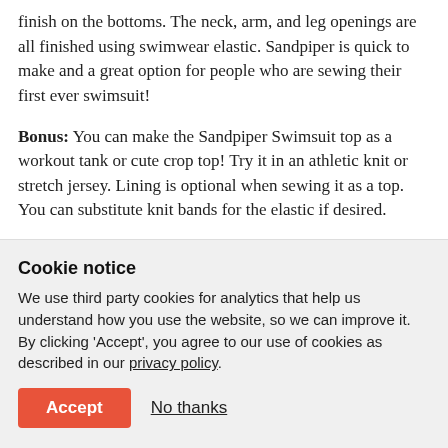finish on the bottoms. The neck, arm, and leg openings are all finished using swimwear elastic. Sandpiper is quick to make and a great option for people who are sewing their first ever swimsuit!
Bonus: You can make the Sandpiper Swimsuit top as a workout tank or cute crop top! Try it in an athletic knit or stretch jersey. Lining is optional when sewing it as a top. You can substitute knit bands for the elastic if desired.
Recommended Fabrics:
Cookie notice
We use third party cookies for analytics that help us understand how you use the website, so we can improve it. By clicking 'Accept', you agree to our use of cookies as described in our privacy policy.